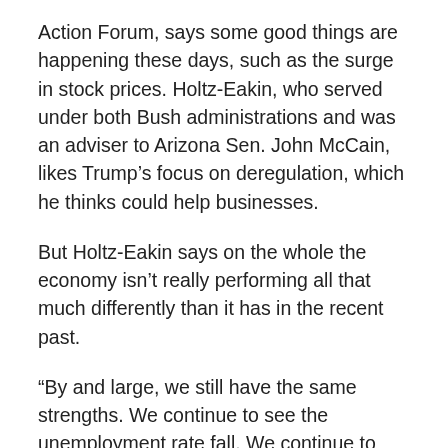Action Forum, says some good things are happening these days, such as the surge in stock prices. Holtz-Eakin, who served under both Bush administrations and was an adviser to Arizona Sen. John McCain, likes Trump’s focus on deregulation, which he thinks could help businesses.
But Holtz-Eakin says on the whole the economy isn’t really performing all that much differently than it has in the recent past.
“By and large, we still have the same strengths. We continue to see the unemployment rate fall. We continue to see jobs created. We continue to have the same weaknesses. We don’t see wages rising rapidly enough to greatly raise the standard of living,” he says.